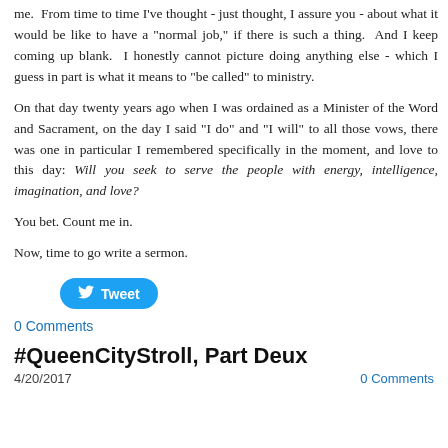me. From time to time I've thought - just thought, I assure you - about what it would be like to have a "normal job," if there is such a thing. And I keep coming up blank. I honestly cannot picture doing anything else - which I guess in part is what it means to "be called" to ministry.
On that day twenty years ago when I was ordained as a Minister of the Word and Sacrament, on the day I said "I do" and "I will" to all those vows, there was one in particular I remembered specifically in the moment, and love to this day: Will you seek to serve the people with energy, intelligence, imagination, and love?
You bet. Count me in.
Now, time to go write a sermon.
[Figure (other): Tweet button with Twitter bird logo]
0 Comments
#QueenCityStroll, Part Deux
4/20/2017    0 Comments